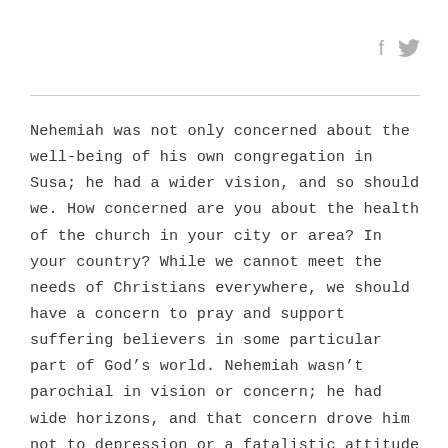[Figure (other): Social media icons: Facebook (f) and Twitter (bird) in light gray]
Nehemiah was not only concerned about the well-being of his own congregation in Susa; he had a wider vision, and so should we. How concerned are you about the health of the church in your city or area? In your country? While we cannot meet the needs of Christians everywhere, we should have a concern to pray and support suffering believers in some particular part of God’s world. Nehemiah wasn’t parochial in vision or concern; he had wide horizons, and that concern drove him not to depression or a fatalistic attitude but to God in prayer.